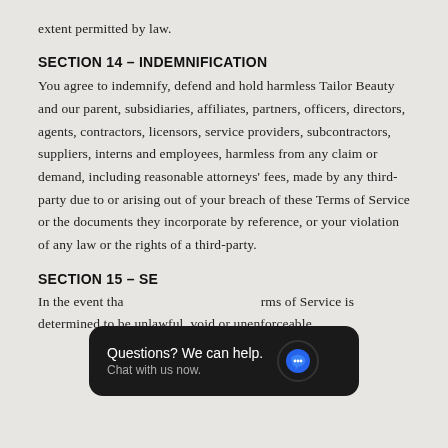extent permitted by law.
SECTION 14 – INDEMNIFICATION
You agree to indemnify, defend and hold harmless Tailor Beauty and our parent, subsidiaries, affiliates, partners, officers, directors, agents, contractors, licensors, service providers, subcontractors, suppliers, interns and employees, harmless from any claim or demand, including reasonable attorneys' fees, made by any third-party due to or arising out of your breach of these Terms of Service or the documents they incorporate by reference, or your violation of any law or the rights of a third-party.
SECTION 15 – SE...
In the event tha...rms of Service is determined to be unlawful, void or unenforceable